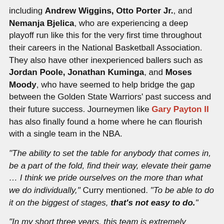including Andrew Wiggins, Otto Porter Jr., and Nemanja Bjelica, who are experiencing a deep playoff run like this for the very first time throughout their careers in the National Basketball Association. They also have other inexperienced ballers such as Jordan Poole, Jonathan Kuminga, and Moses Moody, who have seemed to help bridge the gap between the Golden State Warriors' past success and their future success. Journeymen like Gary Payton II has also finally found a home where he can flourish with a single team in the NBA.
"The ability to set the table for anybody that comes in, be a part of the fold, find their way, elevate their game … I think we pride ourselves on the more than what we do individually," Curry mentioned. "To be able to do it on the biggest of stages, that's not easy to do."
"In my short three years, this team is extremely special," the Golden State Warriors young guard Jordan Poole exclaimed. "What makes that special is we always knew we had championship DNA. Maybe the pieces didn't fit at first, the first